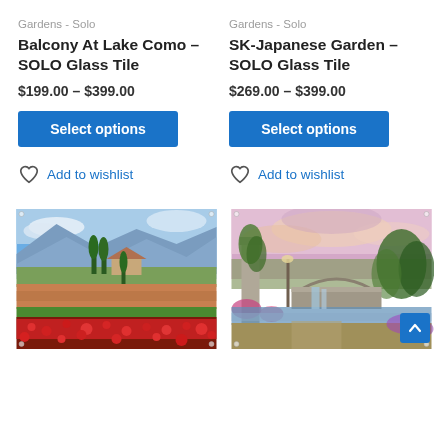Gardens - Solo
Balcony At Lake Como – SOLO Glass Tile
$199.00 – $399.00
Select options
Add to wishlist
Gardens - Solo
SK-Japanese Garden – SOLO Glass Tile
$269.00 – $399.00
Select options
Add to wishlist
[Figure (photo): Glass tile art print of a Tuscan landscape with red poppy fields, cypress trees, and a farmhouse under a blue sky]
[Figure (photo): Glass tile art print of a romantic garden scene with a stone bridge, waterfall, flowers, and dramatic sky]